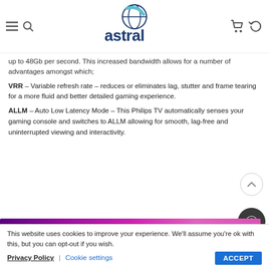astral (logo)
up to 48Gb per second. This increased bandwidth allows for a number of advantages amongst which;
VRR – Variable refresh rate – reduces or eliminates lag, stutter and frame tearing for a more fluid and better detailed gaming experience.
ALLM – Auto Low Latency Mode – This Philips TV automatically senses your gaming console and switches to ALLM allowing for smooth, lag-free and uninterrupted viewing and interactivity.
[Figure (photo): Partial purple/pink gradient image strip at bottom of content area]
This website uses cookies to improve your experience. We'll assume you're ok with this, but you can opt-out if you wish. Privacy Policy | Cookie settings ACCEPT